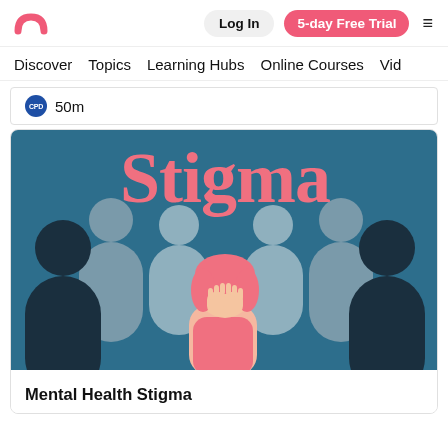Log In | 5-day Free Trial
Discover  Topics  Learning Hubs  Online Courses  Vid
CPD 50m
[Figure (illustration): Illustration with large pink text 'Stigma' on a dark teal background. In the foreground, a pink-haired woman covers her face with her hands, surrounded by dark and grey silhouettes of people.]
Mental Health Stigma